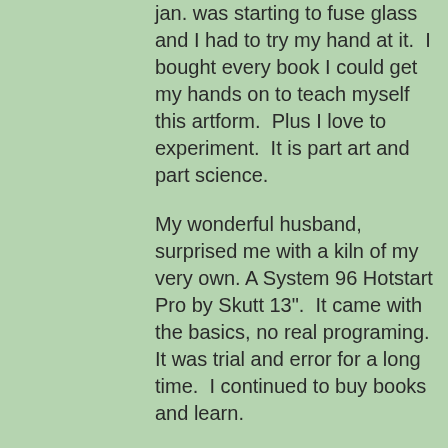jan. was starting to fuse glass and I had to try my hand at it. I bought every book I could get my hands on to teach myself this artform. Plus I love to experiment. It is part art and part science.
My wonderful husband, surprised me with a kiln of my very own. A System 96 Hotstart Pro by Skutt 13". It came with the basics, no real programing. It was trial and error for a long time. I continued to buy books and learn.
Then I discovered webinars online that I could learn new methods and ask questions with teachers.glass artists from all over, without traveling. I learned so many new techniques.
One of these glass artists started her